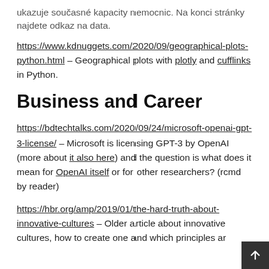ukazuje současné kapacity nemocnic. Na konci stránky najdete odkaz na data.
https://www.kdnuggets.com/2020/09/geographical-plots-python.html – Geographical plots with plotly and cufflinks in Python.
Business and Career
https://bdtechtalks.com/2020/09/24/microsoft-openai-gpt-3-license/ – Microsoft is licensing GPT-3 by OpenAI (more about it also here) and the question is what does it mean for OpenAI itself or for other researchers? (rcmd by reader)
https://hbr.org/amp/2019/01/the-hard-truth-about-innovative-cultures – Older article about innovative cultures, how to create one and which principles ar